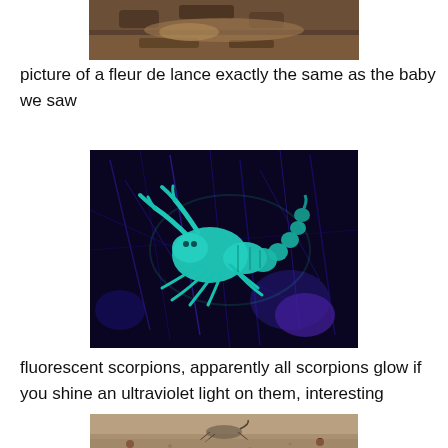[Figure (photo): Partial photo of a fleur de lance snake (baby) on ground with dirt and leaves, cropped at top]
picture of a fleur de lance exactly the same as the baby we saw
[Figure (photo): Fluorescent scorpion glowing cyan/teal under ultraviolet light against dark blue background with dead grass]
fluorescent scorpions, apparently all scorpions glow if you shine an ultraviolet light on them, interesting
[Figure (photo): Partial photo of a small scorpion on sandy ground, cropped at bottom of page]